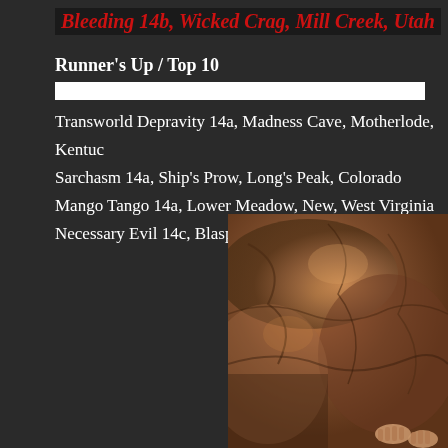Bleeding 14b, Wicked Crag, Mill Creek, Utah
Runner's Up / Top 10
Transworld Depravity 14a, Madness Cave, Motherlode, Kentucky
Sarchasm 14a, Ship's Prow, Long's Peak, Colorado
Mango Tango 14a, Lower Meadow, New, West Virginia
Necessary Evil 14c, Blasphemy Wall, VRG, Arizona
[Figure (photo): Close-up photo of a rocky cliff face with reddish-brown sandstone texture, hands visible at the bottom right corner suggesting a climber on the rock face.]